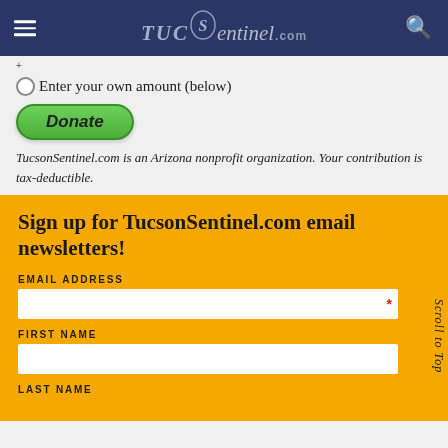TucsonSentinel.com
Enter your own amount (below)
[Figure (other): Green Donate button]
TucsonSentinel.com is an Arizona nonprofit organization. Your contribution is tax-deductible.
Sign up for TucsonSentinel.com email newsletters!
EMAIL ADDRESS
FIRST NAME
LAST NAME